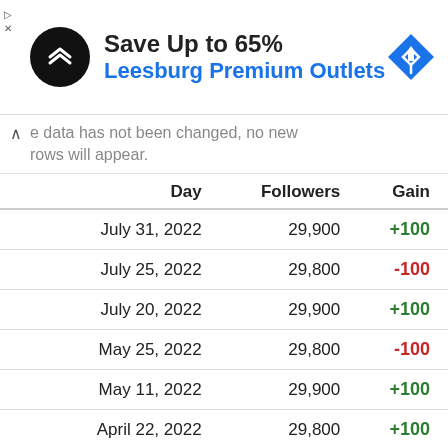[Figure (other): Advertisement banner: black circular logo with arrows icon, text 'Save Up to 65%' in bold black and 'Leesburg Premium Outlets' in blue, blue diamond navigation icon on the right]
e data has not been changed, no new rows will appear.
| Day | Followers | Gain |
| --- | --- | --- |
| July 31, 2022 | 29,900 | +100 |
| July 25, 2022 | 29,800 | -100 |
| July 20, 2022 | 29,900 | +100 |
| May 25, 2022 | 29,800 | -100 |
| May 11, 2022 | 29,900 | +100 |
| April 22, 2022 | 29,800 | +100 |
| March 09, 2022 | 29,700 | +200 |
| February 17, 2022 | 29,500 | +100 |